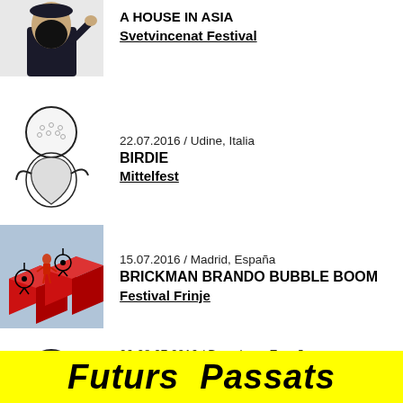[Figure (photo): Person in black costume with beard, saluting, partial view at top of page]
A HOUSE IN ASIA
Svetvincenat Festival
[Figure (illustration): Black and white illustration of a figure with a golf ball for a head]
22.07.2016 / Udine, Italia
BIRDIE
Mittelfest
[Figure (photo): Photo of red cubic blocks with a small figure, radioactive symbols on red cubes]
15.07.2016 / Madrid, España
BRICKMAN BRANDO BUBBLE BOOM
Festival Frinje
[Figure (illustration): Partial illustration of golf ball figure, cropped at bottom]
06-08.07.2016 / Barcelona, España
BIRDIE – PREMIERE
Futurs  Passats